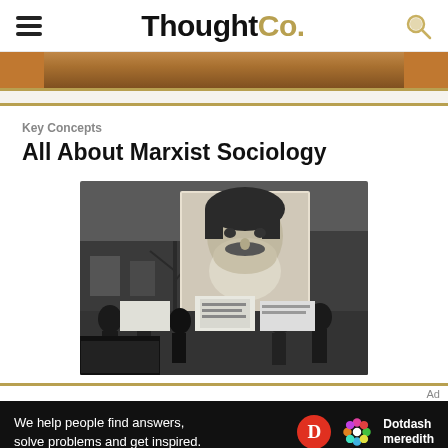ThoughtCo.
[Figure (photo): Cropped decorative top image strip]
Key Concepts
All About Marxist Sociology
[Figure (photo): Black and white photograph of a political rally with protesters holding signs and a large portrait of Karl Marx in the background]
Ad
We help people find answers, solve problems and get inspired.